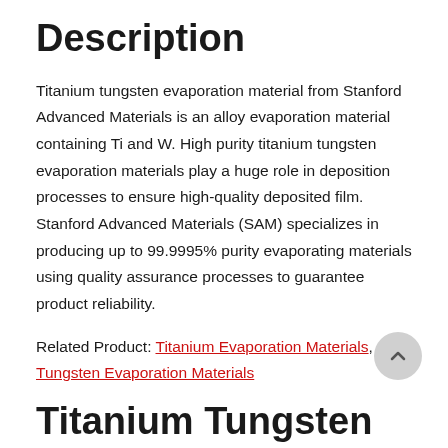Description
Titanium tungsten evaporation material from Stanford Advanced Materials is an alloy evaporation material containing Ti and W. High purity titanium tungsten evaporation materials play a huge role in deposition processes to ensure high-quality deposited film. Stanford Advanced Materials (SAM) specializes in producing up to 99.9995% purity evaporating materials using quality assurance processes to guarantee product reliability.
Related Product: Titanium Evaporation Materials, Tungsten Evaporation Materials
Titanium Tungsten